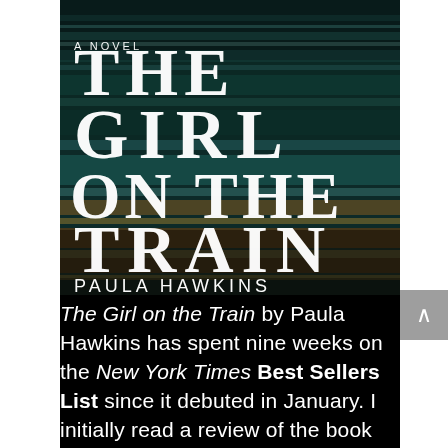[Figure (photo): Book cover of 'The Girl on the Train' by Paula Hawkins. Dark teal/green motion-blurred background resembling a train scene. Large white stylized text reads 'THE GIRL ON THE TRAIN' with 'A NOVEL' subtitle above. Author name 'PAULA HAWKINS' in white text at the bottom.]
The Girl on the Train by Paula Hawkins has spent nine weeks on the New York Times Best Sellers List since it debuted in January. I initially read a review of the book